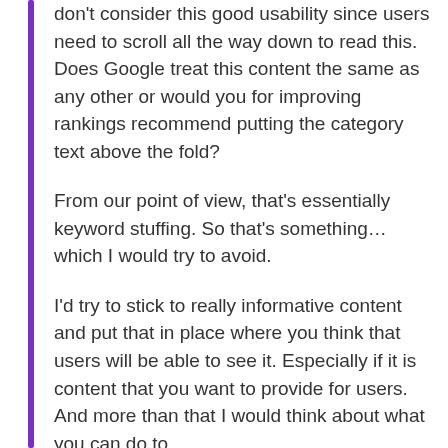don't consider this good usability since users need to scroll all the way down to read this. Does Google treat this content the same as any other or would you for improving rankings recommend putting the category text above the fold?
From our point of view, that's essentially keyword stuffing. So that's something… which I would try to avoid.
I'd try to stick to really informative content and put that in place where you think that users will be able to see it. Especially if it is content that you want to provide for users. And more than that I would think about what you can do to